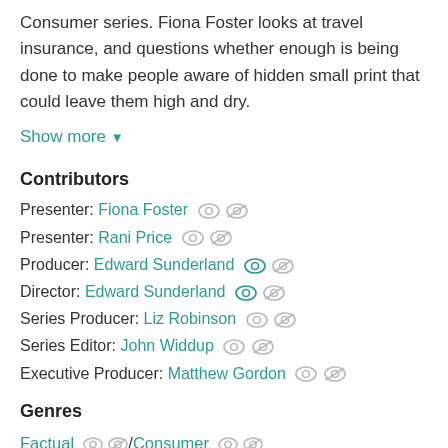Consumer series. Fiona Foster looks at travel insurance, and questions whether enough is being done to make people aware of hidden small print that could leave them high and dry.
Show more ▾
Contributors
Presenter: Fiona Foster
Presenter: Rani Price
Producer: Edward Sunderland
Director: Edward Sunderland
Series Producer: Liz Robinson
Series Editor: John Widdup
Executive Producer: Matthew Gordon
Genres
Factual / Consumer
Factual / Travel